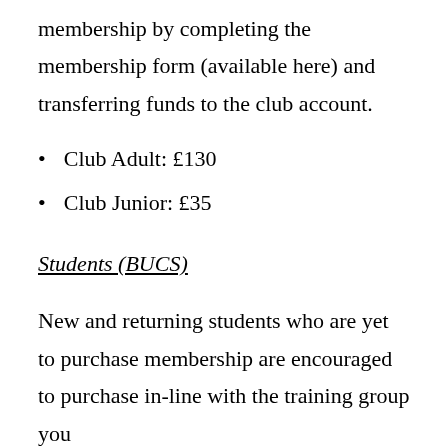membership by completing the membership form (available here) and transferring funds to the club account.
Club Adult: £130
Club Junior: £35
Students (BUCS)
New and returning students who are yet to purchase membership are encouraged to purchase in-line with the training group you